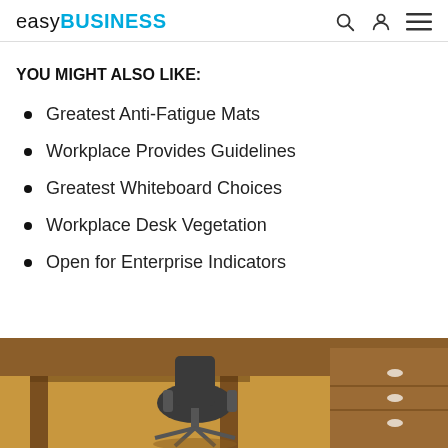easyBUSINESS
YOU MIGHT ALSO LIKE:
Greatest Anti-Fatigue Mats
Workplace Provides Guidelines
Greatest Whiteboard Choices
Workplace Desk Vegetation
Open for Enterprise Indicators
[Figure (photo): Office desk with wooden surface and black ergonomic chair with filing cabinet on right]